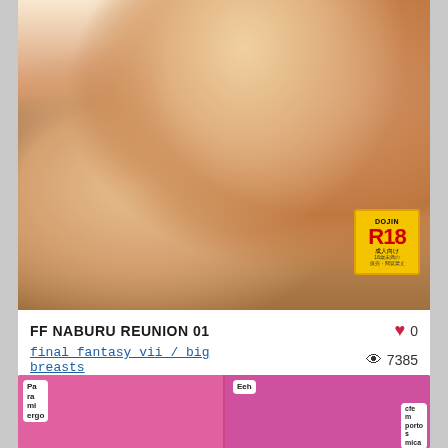[Figure (illustration): Anime/manga style illustration cover for a doujin titled FF NABURU REUNION 01, featuring characters from Final Fantasy VII. Contains a DOJIN R18 rating badge in the lower right corner.]
FF NABURU REUNION 01
final fantasy vii / big breasts
♥ 0
👁 7385
19/05/2020
[Figure (illustration): Partial view of manga/comic panels with pink background showing character faces and speech bubbles with text: 'Pa ra mi ergo', 'Eeh', 'cfe m porto s mica']